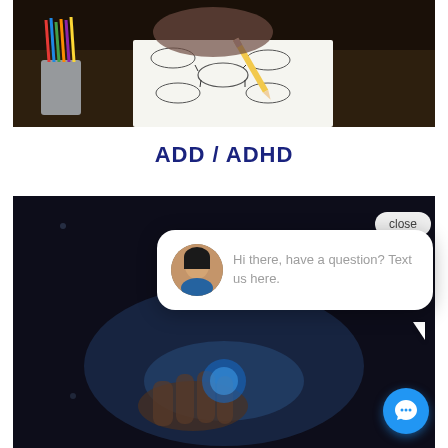[Figure (photo): Person drawing a mind map or flowchart on paper with colored pencils in a cup nearby, viewed from above on a dark desk surface.]
ADD / ADHD
[Figure (screenshot): Dark background photo showing a hand interacting with a glowing interface, overlaid with a chat popup widget. The popup shows a woman's avatar photo and the text 'Hi there, have a question? Text us here.' with a 'close' button in the top-right corner and a blue circular chat icon in the bottom-right.]